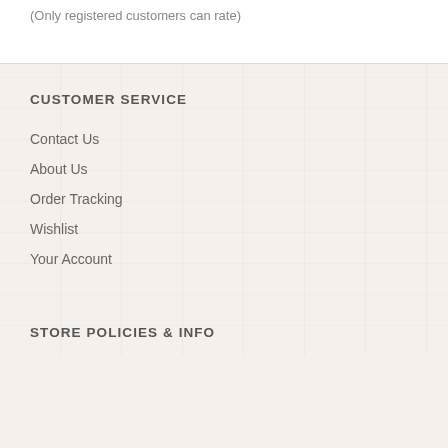(Only registered customers can rate)
CUSTOMER SERVICE
Contact Us
About Us
Order Tracking
Wishlist
Your Account
STORE POLICIES & INFO